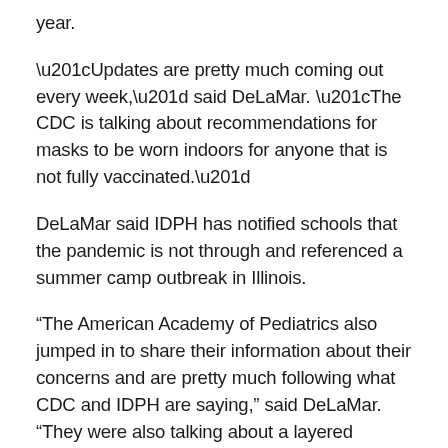year.
“Updates are pretty much coming out every week,” said DeLaMar. “The CDC is talking about recommendations for masks to be worn indoors for anyone that is not fully vaccinated.”
DeLaMar said IDPH has notified schools that the pandemic is not through and referenced a summer camp outbreak in Illinois.
“The American Academy of Pediatrics also jumped in to share their information about their concerns and are pretty much following what CDC and IDPH are saying,” said DeLaMar. “They were also talking about a layered protection: vaccination, masking and hygiene.”
The American Academy of Pediatrics reports that an early vaccine authorization for children under 12 may be out this winter. DeLaMar said schools could utilize iCare to readily access information about individuals